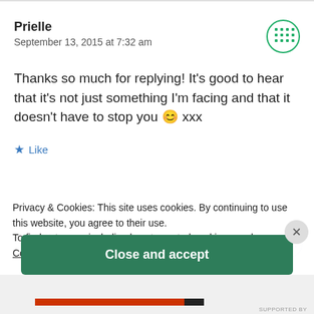Prielle
September 13, 2015 at 7:32 am
Thanks so much for replying! It’s good to hear that it’s not just something I’m facing and that it doesn’t have to stop you 😊 xxx
★ Like
Privacy & Cookies: This site uses cookies. By continuing to use this website, you agree to their use.
To find out more, including how to control cookies, see here: Cookie Policy
Christie
September 13, 2015 at 1:40 am
Close and accept